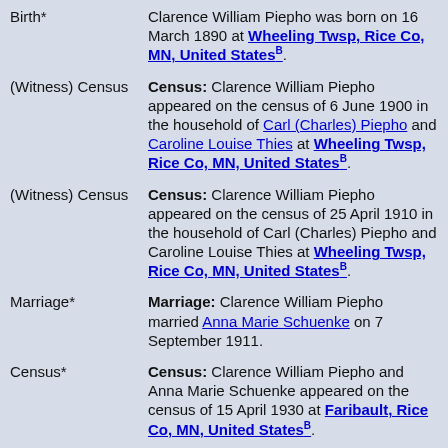| Event | Details |
| --- | --- |
| Birth* | Clarence William Piepho was born on 16 March 1890 at Wheeling Twsp, Rice Co, MN, United States. |
| (Witness) Census | Census: Clarence William Piepho appeared on the census of 6 June 1900 in the household of Carl (Charles) Piepho and Caroline Louise Thies at Wheeling Twsp, Rice Co, MN, United States. |
| (Witness) Census | Census: Clarence William Piepho appeared on the census of 25 April 1910 in the household of Carl (Charles) Piepho and Caroline Louise Thies at Wheeling Twsp, Rice Co, MN, United States. |
| Marriage* | Marriage: Clarence William Piepho married Anna Marie Schuenke on 7 September 1911. |
| Census* | Census: Clarence William Piepho and Anna Marie Schuenke appeared on the census of 15 April 1930 at Faribault, Rice Co, MN, United States. |
| Residence* | Residence: Clarence William Piepho lived at Faribault, Rice Co, MN, United States... |